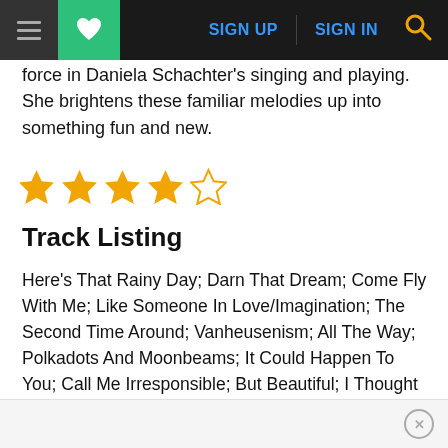SIGN UP  SIGN IN
force in Daniela Schachter's singing and playing. She brightens these familiar melodies up into something fun and new.
[Figure (other): 4 out of 5 stars rating — four filled gold stars and one empty gold star outline]
Track Listing
Here's That Rainy Day; Darn That Dream; Come Fly With Me; Like Someone In Love/Imagination; The Second Time Around; Vanheusenism; All The Way; Polkadots And Moonbeams; It Could Happen To You; Call Me Irresponsible; But Beautiful; I Thought About You.